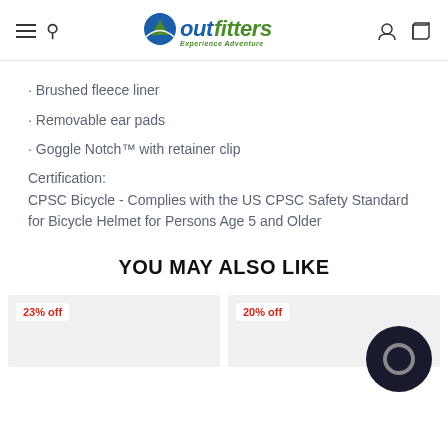outfitters - Experience Adventure
· Brushed fleece liner
· Removable ear pads
· Goggle Notch™ with retainer clip
Certification:
CPSC Bicycle - Complies with the US CPSC Safety Standard for Bicycle Helmet for Persons Age 5 and Older
YOU MAY ALSO LIKE
23% off
20% off